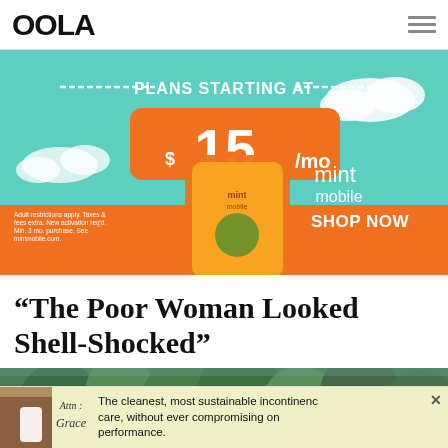OOLA
[Figure (photo): Mint Mobile advertisement banner showing a smartphone with Mint Mobile branding, orange price tag reading '$15/mo', text 'PLANS STARTING AT', mint mobile logo, and 'SHOP NOW' button on a teal/sky background.]
“The Poor Woman Looked Shell-Shocked”
[Figure (photo): Forest/trees photo in green tones, partially visible at the bottom of the page.]
[Figure (photo): Bottom advertisement bar: 'Attn: Grace' ad with person image and yellow background text reading 'The cleanest, most sustainable incontinence care, without ever compromising on performance.']